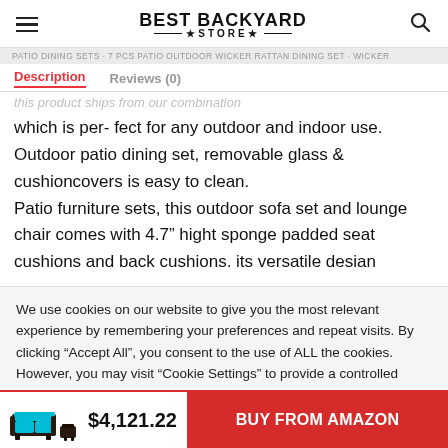BEST BACKYARD STORE
which is per- fect for any outdoor and indoor use. Outdoor patio dining set, removable glass & cushioncovers is easy to clean. Patio furniture sets, this outdoor sofa set and lounge chair comes with 4.7" hight sponge padded seat cushions and back cushions. its versatile desian
We use cookies on our website to give you the most relevant experience by remembering your preferences and repeat visits. By clicking "Accept All", you consent to the use of ALL the cookies. However, you may visit "Cookie Settings" to provide a controlled consent.
$4,121.22 BUY FROM AMAZON